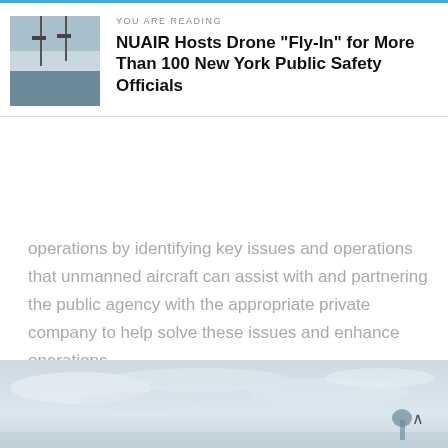YOU ARE READING
NUAIR Hosts Drone “Fly-In” for More Than 100 New York Public Safety Officials
operations by identifying key issues and operations that unmanned aircraft can assist with and partnering the public agency with the appropriate private company to help solve these issues and enhance operations.
[Figure (photo): Outdoor sky scene with light blue and grey cloudy sky, possibly an airfield or open landscape, with a small tree or structure visible at the bottom right.]